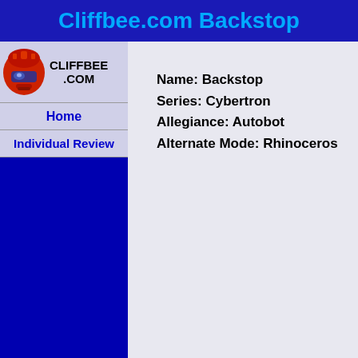Cliffbee.com Backstop
[Figure (logo): Cliffbee.com logo with red robot character head and text CLIFFBEE .COM]
Home
Individual Review
Name: Backstop
Series: Cybertron
Allegiance: Autobot
Alternate Mode: Rhinoceros